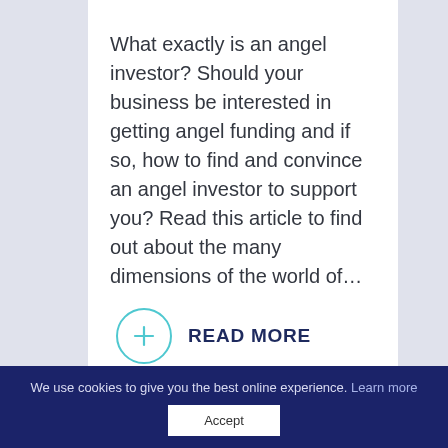What exactly is an angel investor? Should your business be interested in getting angel funding and if so, how to find and convince an angel investor to support you? Read this article to find out about the many dimensions of the world of…
READ MORE
We use cookies to give you the best online experience. Learn more Accept